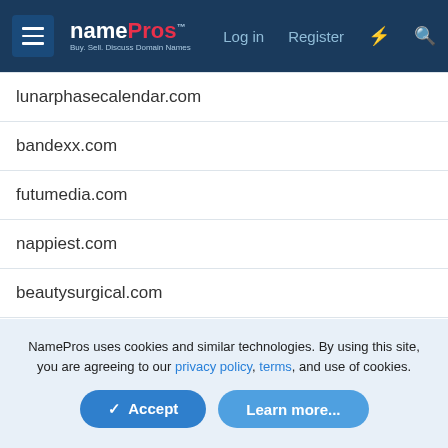NamePros — Buy. Sell. Discuss Domain Names. | Log in | Register
lunarphasecalendar.com
bandexx.com
futumedia.com
nappiest.com
beautysurgical.com
ganjatabs.com
easydataremoval.com
des1gner.com
NamePros uses cookies and similar technologies. By using this site, you are agreeing to our privacy policy, terms, and use of cookies.